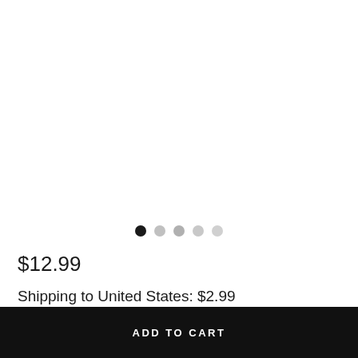[Figure (other): Product image area (blank/white)]
[Figure (infographic): Image carousel navigation dots: 5 dots, first is black (active), remaining four are light gray]
$12.99
Shipping to United States: $2.99
ADD TO CART